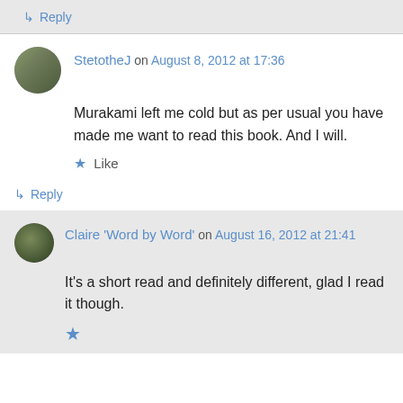↳ Reply
StetotheJ on August 8, 2012 at 17:36
Murakami left me cold but as per usual you have made me want to read this book. And I will.
★ Like
↳ Reply
Claire 'Word by Word' on August 16, 2012 at 21:41
It's a short read and definitely different, glad I read it though.